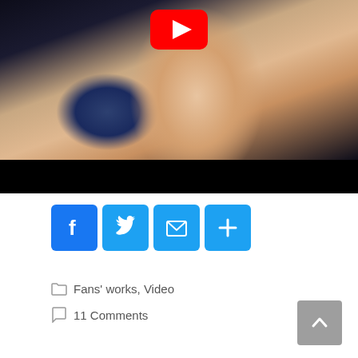[Figure (screenshot): YouTube video thumbnail showing close-up side profile of a person's face with YouTube play button overlay on top, followed by black bar at bottom of player]
[Figure (infographic): Social share buttons: Facebook (blue F), Twitter (blue bird), Email (blue envelope), More/Plus (blue plus sign)]
Fans' works, Video
11 Comments